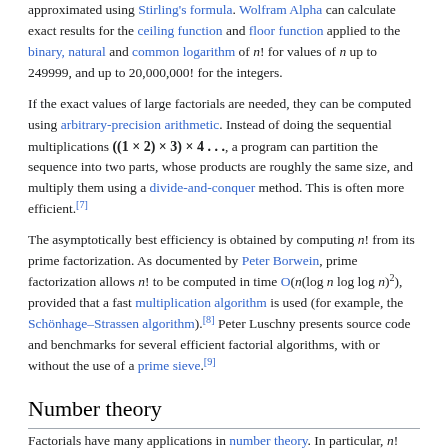approximated using Stirling's formula. Wolfram Alpha can calculate exact results for the ceiling function and floor function applied to the binary, natural and common logarithm of n! for values of n up to 249999, and up to 20,000,000! for the integers.
If the exact values of large factorials are needed, they can be computed using arbitrary-precision arithmetic. Instead of doing the sequential multiplications ((1 × 2) × 3) × 4 . . ., a program can partition the sequence into two parts, whose products are roughly the same size, and multiply them using a divide-and-conquer method. This is often more efficient.[7]
The asymptotically best efficiency is obtained by computing n! from its prime factorization. As documented by Peter Borwein, prime factorization allows n! to be computed in time O(n(log n log log n)^2), provided that a fast multiplication algorithm is used (for example, the Schönhage–Strassen algorithm).[8] Peter Luschny presents source code and benchmarks for several efficient factorial algorithms, with or without the use of a prime sieve.[9]
Number theory
Factorials have many applications in number theory. In particular, n!